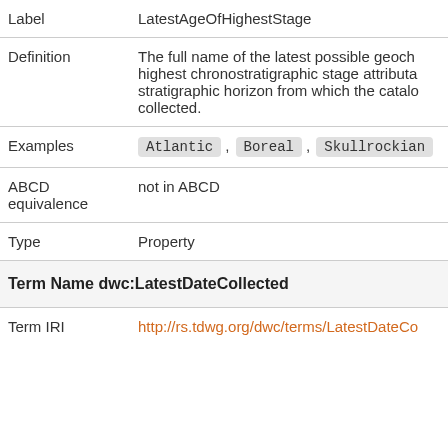| Label | LatestAgeOfHighestStage |
| --- | --- |
| Label | LatestAgeOfHighestStage |
| Definition | The full name of the latest possible geoch highest chronostratigraphic stage attributa stratigraphic horizon from which the catalo collected. |
| Examples | Atlantic , Boreal , Skullrockian |
| ABCD equivalence | not in ABCD |
| Type | Property |
Term Name dwc:LatestDateCollected
| Term IRI |  |
| --- | --- |
| Term IRI | http://rs.tdwg.org/dwc/terms/LatestDateCo |